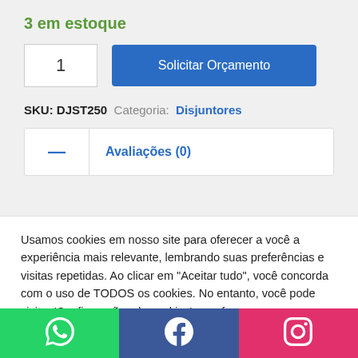3 em estoque
1
Solicitar Orçamento
SKU: DJST250  Categoria: Disjuntores
— Avaliações (0)
Usamos cookies em nosso site para oferecer a você a experiência mais relevante, lembrando suas preferências e visitas repetidas. Ao clicar em "Aceitar tudo", você concorda com o uso de TODOS os cookies. No entanto, você pode visitar 'Configurações de cookies' para fornecer um consentimento controlado.
Configurações de cookies
Aceite todos os termos